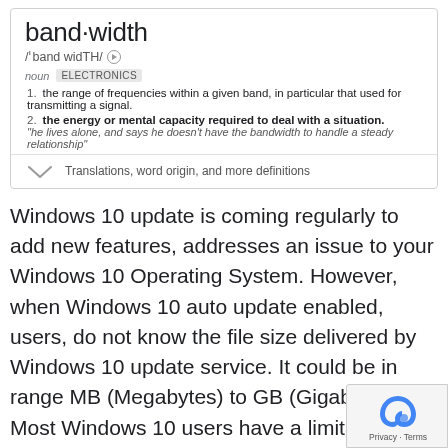band·width
/'band widTH/ 🔊
noun  ELECTRONICS
1. the range of frequencies within a given band, in particular that used for transmitting a signal.
2. the energy or mental capacity required to deal with a situation. "he lives alone, and says he doesn't have the bandwidth to handle a steady relationship"
Translations, word origin, and more definitions
Windows 10 update is coming regularly to add new features, addresses an issue to your Windows 10 Operating System. However, when Windows 10 auto update enabled, users, do not know the file size delivered by Windows 10 update service. It could be in range MB (Megabytes) to GB (Gigabytes). Most Windows 10 users have a limitation on their connection, even many of them have a metered connection. When Windows 10 update pushes huge update, some user has an issue with their connection due to all bandwidth used to download updates in the background, and the connection becomes unusable because no bandwidth left.